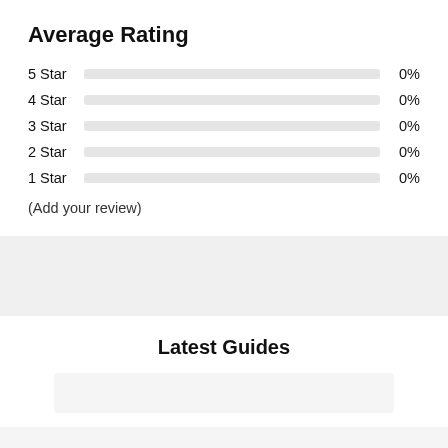Average Rating
[Figure (bar-chart): Average Rating]
(Add your review)
Latest Guides